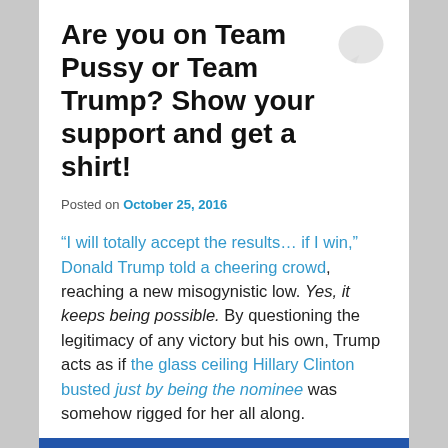Are you on Team Pussy or Team Trump? Show your support and get a shirt!
Posted on October 25, 2016
“I will totally accept the results… if I win,” Donald Trump told a cheering crowd, reaching a new misogynistic low. Yes, it keeps being possible. By questioning the legitimacy of any victory but his own, Trump acts as if the glass ceiling Hillary Clinton busted just by being the nominee was somehow rigged for her all along.